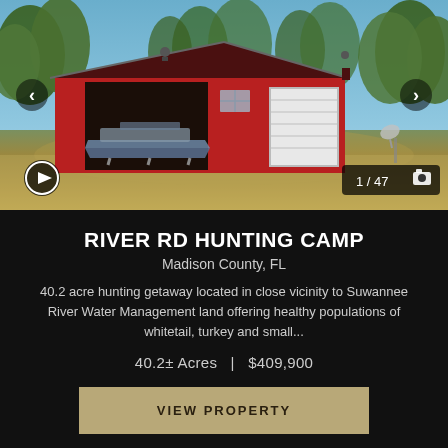[Figure (photo): Red barn/storage building with open bay containing a boat, white roll-up garage door on right side, surrounded by trees and open ground. Navigation arrows on sides, photo counter showing 1/47, video play button icon.]
RIVER RD HUNTING CAMP
Madison County, FL
40.2 acre hunting getaway located in close vicinity to Suwannee River Water Management land offering healthy populations of whitetail, turkey and small...
40.2± Acres   |   $409,900
VIEW PROPERTY